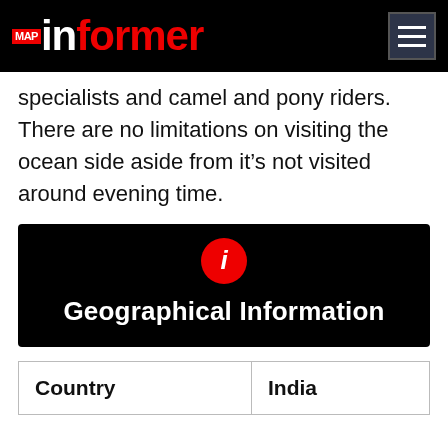MAP informer
specialists and camel and pony riders. There are no limitations on visiting the ocean side aside from it's not visited around evening time.
Geographical Information
| Country | India |
| --- | --- |
| Country | India |